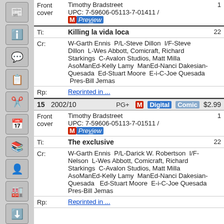| Label | Content | Num |
| --- | --- | --- |
| Front cover | Timothy Bradstreet
UPC: 7-59606-05113-7-01411 / M Preview | 1 |
| Ti: | Killing la vida loca | 22 |
| Cr: | W-Garth Ennis  P/L-Steve Dillon  I/F-Steve Dillon  L-Wes Abbott, Comicraft, Richard Starkings  C-Avalon Studios, Matt Milla  AsoManEd-Kelly Lamy  ManEd-Nanci Dakesian-Quesada  Ed-Stuart Moore  E-i-C-Joe Quesada  Pres-Bill Jemas |  |
| Rp: | Reprinted in ... |  |
| 15 2002/10 | PG+ M Digital Comic | $2.99 |
| Front cover | Timothy Bradstreet
UPC: 7-59606-05113-7-01511 / M Preview | 1 |
| Ti: | The exclusive | 22 |
| Cr: | W-Garth Ennis  P/L-Darick W. Robertson  I/F-Nelson  L-Wes Abbott, Comicraft, Richard Starkings  C-Avalon Studios, Matt Milla  AsoManEd-Kelly Lamy  ManEd-Nanci Dakesian-Quesada  Ed-Stuart Moore  E-i-C-Joe Quesada  Pres-Bill Jemas |  |
| Rp: | Reprinted in ... |  |